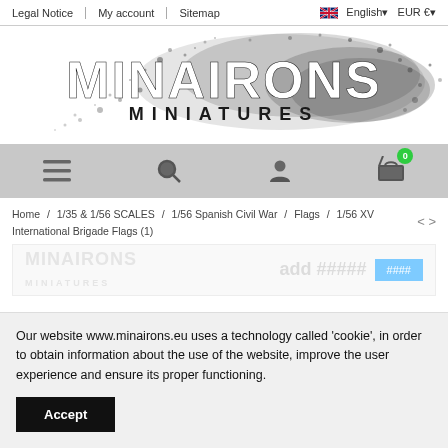Legal Notice | My account | Sitemap | English | EUR €
[Figure (logo): Minairons Miniatures logo — large stylized text 'MINAIRONS' with 'MINIATURES' below, on a splatter/explosion of black ink dots]
[Figure (infographic): Icon toolbar with menu (hamburger), search (magnifier), account (person), and shopping cart icons. Cart has a green badge showing 0.]
Home / 1/35 & 1/56 SCALES / 1/56 Spanish Civil War / Flags / 1/56 XV International Brigade Flags (1)
Our website www.minairons.eu uses a technology called 'cookie', in order to obtain information about the use of the website, improve the user experience and ensure its proper functioning.
Accept